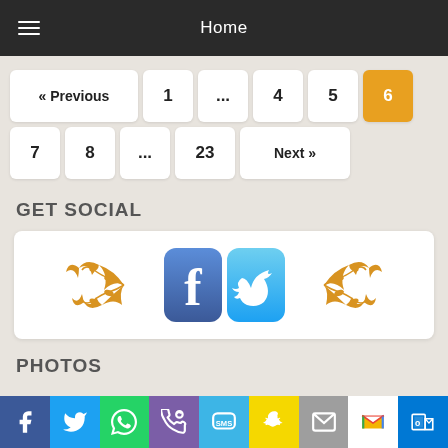Home
« Previous  1  ...  4  5  6  7  8  ...  23  Next »
GET SOCIAL
[Figure (illustration): Facebook and Twitter icons flanked by decorative orange floral flourishes on a white rounded rectangle box]
PHOTOS
[Figure (infographic): Bottom share bar with Facebook, Twitter, WhatsApp, Phone, SMS, Snapchat, Email, Gmail, and Outlook icons on colored backgrounds]